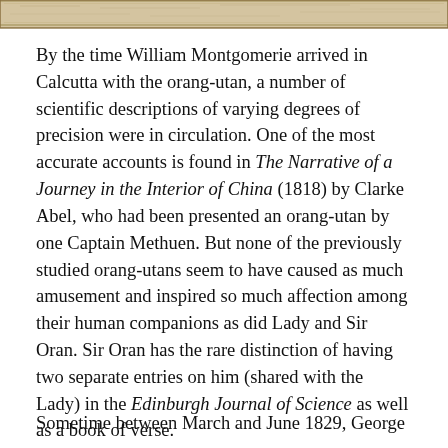[Figure (illustration): Top portion of a historical map or decorative image, showing aged parchment-like tones with ruled border lines.]
By the time William Montgomerie arrived in Calcutta with the orang-utan, a number of scientific descriptions of varying degrees of precision were in circulation. One of the most accurate accounts is found in The Narrative of a Journey in the Interior of China (1818) by Clarke Abel, who had been presented an orang-utan by one Captain Methuen. But none of the previously studied orang-utans seem to have caused as much amusement and inspired so much affection among their human companions as did Lady and Sir Oran. Sir Oran has the rare distinction of having two separate entries on him (shared with the Lady) in the Edinburgh Journal of Science as well as a book of verse.
Sometime between March and June 1829, George